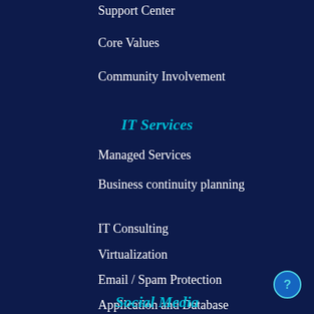Support Center
Core Values
Community Involvement
IT Services
Managed Services
Business continuity planning
IT Consulting
Virtualization
Email / Spam Protection
Application and Database Development
Social Media